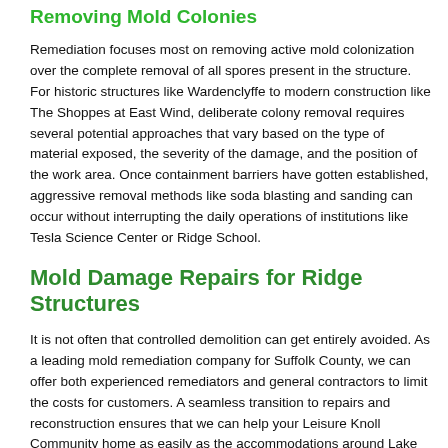Removing Mold Colonies
Remediation focuses most on removing active mold colonization over the complete removal of all spores present in the structure. For historic structures like Wardenclyffe to modern construction like The Shoppes at East Wind, deliberate colony removal requires several potential approaches that vary based on the type of material exposed, the severity of the damage, and the position of the work area. Once containment barriers have gotten established, aggressive removal methods like soda blasting and sanding can occur without interrupting the daily operations of institutions like Tesla Science Center or Ridge School.
Mold Damage Repairs for Ridge Structures
It is not often that controlled demolition can get entirely avoided. As a leading mold remediation company for Suffolk County, we can offer both experienced remediators and general contractors to limit the costs for customers. A seamless transition to repairs and reconstruction ensures that we can help your Leisure Knoll Community home as easily as the accommodations around Lake Panamoka...